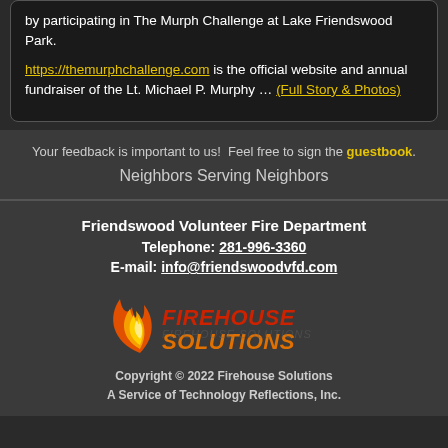by participating in The Murph Challenge at Lake Friendswood Park.
https://themurphchallenge.com is the official website and annual fundraiser of the Lt. Michael P. Murphy … (Full Story & Photos)
Your feedback is important to us!  Feel free to sign the guestbook.
Neighbors Serving Neighbors
Friendswood Volunteer Fire Department
Telephone: 281-996-3360
E-mail: info@friendswoodvfd.com
[Figure (logo): Firehouse Solutions logo with flame graphic and stylized text]
Copyright © 2022 Firehouse Solutions
A Service of Technology Reflections, Inc.